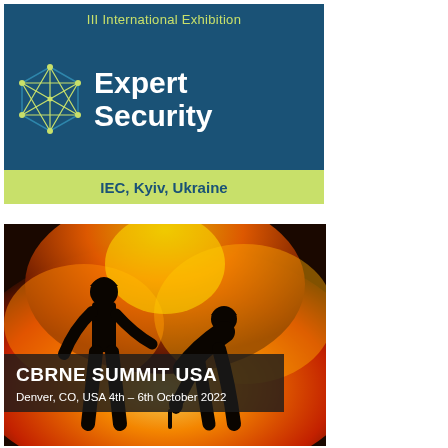[Figure (illustration): III International Exhibition Expert Security banner with geometric network logo on dark blue background. Green bar at bottom reads IEC, Kyiv, Ukraine.]
[Figure (photo): CBRNE Summit USA promotional image. Background shows firefighters silhouetted against a large fire/explosion. Text overlay: CBRNE SUMMIT USA, Denver, CO, USA 4th – 6th October 2022.]